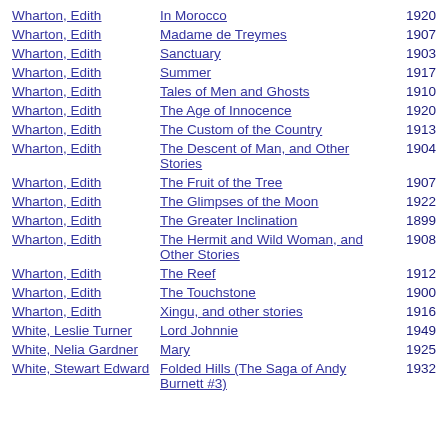| Author | Title | Year |
| --- | --- | --- |
| Wharton, Edith | In Morocco | 1920 |
| Wharton, Edith | Madame de Treymes | 1907 |
| Wharton, Edith | Sanctuary | 1903 |
| Wharton, Edith | Summer | 1917 |
| Wharton, Edith | Tales of Men and Ghosts | 1910 |
| Wharton, Edith | The Age of Innocence | 1920 |
| Wharton, Edith | The Custom of the Country | 1913 |
| Wharton, Edith | The Descent of Man, and Other Stories | 1904 |
| Wharton, Edith | The Fruit of the Tree | 1907 |
| Wharton, Edith | The Glimpses of the Moon | 1922 |
| Wharton, Edith | The Greater Inclination | 1899 |
| Wharton, Edith | The Hermit and Wild Woman, and Other Stories | 1908 |
| Wharton, Edith | The Reef | 1912 |
| Wharton, Edith | The Touchstone | 1900 |
| Wharton, Edith | Xingu, and other stories | 1916 |
| White, Leslie Turner | Lord Johnnie | 1949 |
| White, Nelia Gardner | Mary | 1925 |
| White, Stewart Edward | Folded Hills (The Saga of Andy Burnett #3) | 1932 |